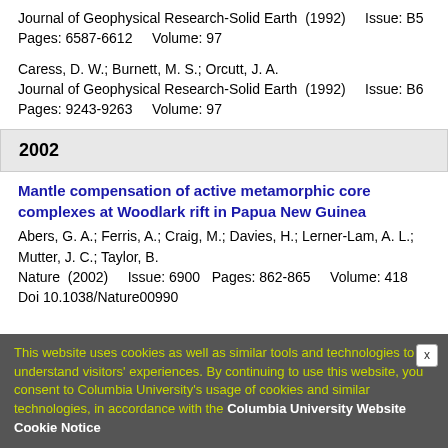Journal of Geophysical Research-Solid Earth  (1992)    Issue: B5
Pages: 6587-6612    Volume: 97
Caress, D. W.; Burnett, M. S.; Orcutt, J. A.
Journal of Geophysical Research-Solid Earth  (1992)    Issue: B6
Pages: 9243-9263    Volume: 97
2002
Mantle compensation of active metamorphic core complexes at Woodlark rift in Papua New Guinea
Abers, G. A.; Ferris, A.; Craig, M.; Davies, H.; Lerner-Lam, A. L.; Mutter, J. C.; Taylor, B.
Nature  (2002)    Issue: 6900  Pages: 862-865    Volume: 418
Doi 10.1038/Nature00990
This website uses cookies as well as similar tools and technologies to understand visitors' experiences. By continuing to use this website, you consent to Columbia University's usage of cookies and similar technologies, in accordance with the Columbia University Website Cookie Notice